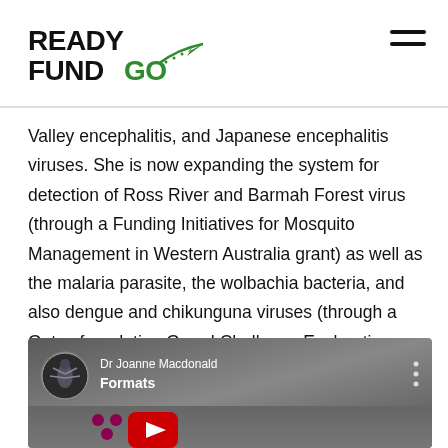READY FUND GO
Valley encephalitis, and Japanese encephalitis viruses. She is now expanding the system for detection of Ross River and Barmah Forest virus (through a Funding Initiatives for Mosquito Management in Western Australia grant) as well as the malaria parasite, the wolbachia bacteria, and also dengue and chikunguna viruses (through a Gates foundation Grand Challenge Explorations grant).
[Figure (screenshot): YouTube video thumbnail showing Dr Joanne Macdonald channel with title text including 'Formats'. Dark grey background with YouTube logo visible at the bottom. Channel icon showing mosquito/insect imagery on left.]